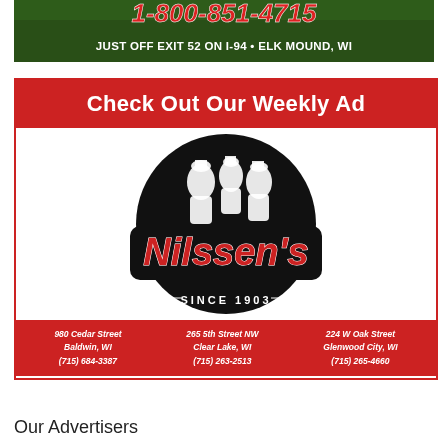[Figure (infographic): Top banner with green background showing phone number in red/white italic text and text 'JUST OFF EXIT 52 ON I-94 • ELK MOUND, WI' in white bold]
[Figure (logo): Nilssen's grocery store advertisement with red header 'Check Out Our Weekly Ad', Nilssen's logo (black circle with white silhouettes and red Nilssen's text, SINCE 1903), and red footer with three store locations: 980 Cedar Street Baldwin WI (715) 684-3387 | 265 5th Street NW Clear Lake WI (715) 263-2513 | 224 W Oak Street Glenwood City WI (715) 265-4660]
Our Advertisers